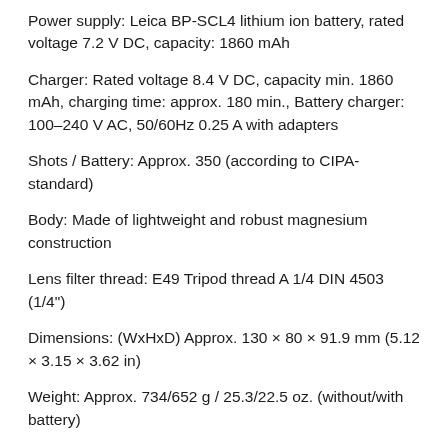Power supply: Leica BP-SCL4 lithium ion battery, rated voltage 7.2 V DC, capacity: 1860 mAh
Charger: Rated voltage 8.4 V DC, capacity min. 1860 mAh, charging time: approx. 180 min., Battery charger: 100–240 V AC, 50/60Hz 0.25 A with adapters
Shots / Battery: Approx. 350 (according to CIPA-standard)
Body: Made of lightweight and robust magnesium construction
Lens filter thread: E49 Tripod thread A 1/4 DIN 4503 (1/4")
Dimensions: (WxHxD) Approx. 130 × 80 × 91.9 mm (5.12 × 3.15 × 3.62 in)
Weight: Approx. 734/652 g / 25.3/22.5 oz. (without/with battery)